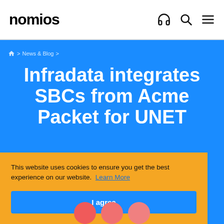nomios
⌂ > News & Blog >
Infradata integrates SBCs from Acme Packet for UNET
This website uses cookies to ensure you get the best experience on our website. Learn More
I agree